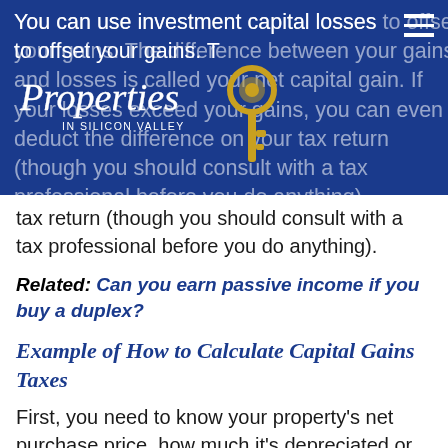You can use investment capital losses to offset your gains. The difference between your gains and losses is called your net capital gain. If your losses exceed your gains, you can even deduct the difference on your tax return (though you should consult with a tax professional before you do anything).
[Figure (logo): Properties in Silicon Valley logo with gold key illustration on blue banner background]
tax return (though you should consult with a tax professional before you do anything).
Related: Can you earn passive income if you buy a duplex?
Example of How to Calculate Capital Gains Taxes
First, you need to know your property's net purchase price, how much it's depreciated or appreciated, and how much you've spent in …